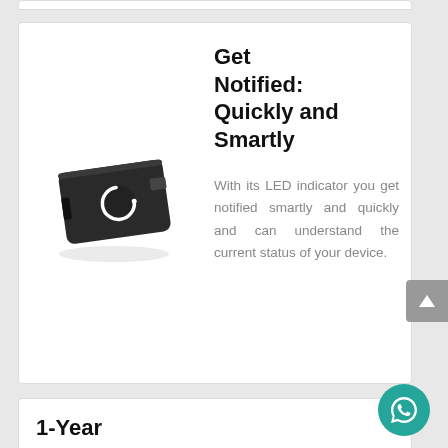[Figure (photo): Small black electronic USB device/dongle with a circular logo on it, photographed at a slight angle on a white background]
Get Notified: Quickly and Smartly
With its LED indicator you get notified smartly and quickly and can understand the current status of your device.
1-Year